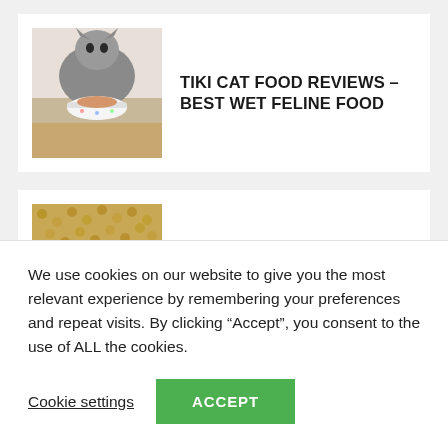[Figure (photo): Gray cat eating from a white bowl]
TIKI CAT FOOD REVIEWS – BEST WET FELINE FOOD
[Figure (photo): Hand holding pine pellet cat litter against a background of more pellets]
KNOW ABOUT THE PINE CAT LITTER PROS AND CONS
[Figure (photo): Cat wearing an electric shock collar (partially visible)]
ELECTRIC SHOCK COLLARS FOR
We use cookies on our website to give you the most relevant experience by remembering your preferences and repeat visits. By clicking “Accept”, you consent to the use of ALL the cookies.
Cookie settings
ACCEPT